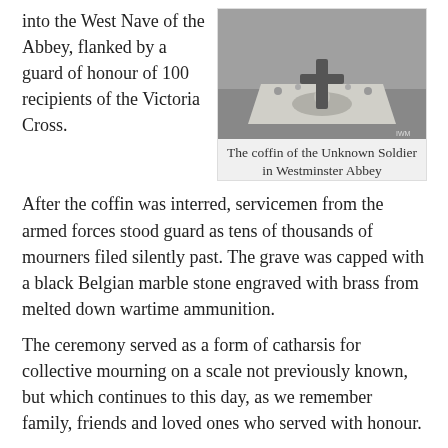into the West Nave of the Abbey, flanked by a guard of honour of 100 recipients of the Victoria Cross.
[Figure (photo): Black and white photograph of the coffin of the Unknown Soldier lying in state in Westminster Abbey, covered with a decorated cloth and a cross.]
The coffin of the Unknown Soldier in Westminster Abbey
After the coffin was interred, servicemen from the armed forces stood guard as tens of thousands of mourners filed silently past. The grave was capped with a black Belgian marble stone engraved with brass from melted down wartime ammunition.
The ceremony served as a form of catharsis for collective mourning on a scale not previously known, but which continues to this day, as we remember family, friends and loved ones who served with honour.
The following year, in 1921, the poppy became the symbol of an appeal to raise money for servicemen in need after the First World War. The idea for this came from the American War Secretary, who had read the poem In Flanders Fields, written by the Canadian doctor, Lieutenant Colonel John